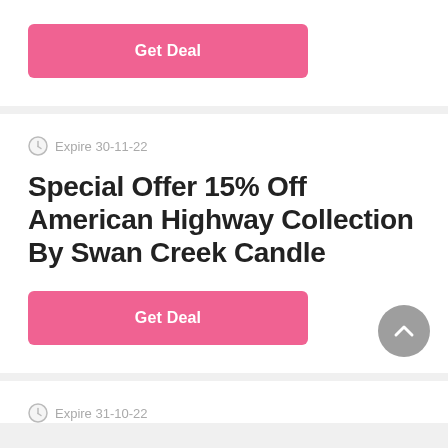[Figure (other): Pink 'Get Deal' button at top of first card]
Expire 30-11-22
Special Offer 15% Off American Highway Collection By Swan Creek Candle
[Figure (other): Pink 'Get Deal' button for second card]
Expire 31-10-22